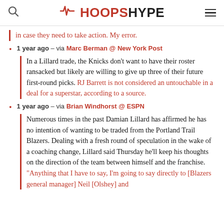HoopsHype
in case they need to take action. My error.
1 year ago – via Marc Berman @ New York Post
In a Lillard trade, the Knicks don't want to have their roster ransacked but likely are willing to give up three of their future first-round picks. RJ Barrett is not considered an untouchable in a deal for a superstar, according to a source.
1 year ago – via Brian Windhorst @ ESPN
Numerous times in the past Damian Lillard has affirmed he has no intention of wanting to be traded from the Portland Trail Blazers. Dealing with a fresh round of speculation in the wake of a coaching change, Lillard said Thursday he'll keep his thoughts on the direction of the team between himself and the franchise. "Anything that I have to say, I'm going to say directly to [Blazers general manager] Neil [Olshey] and